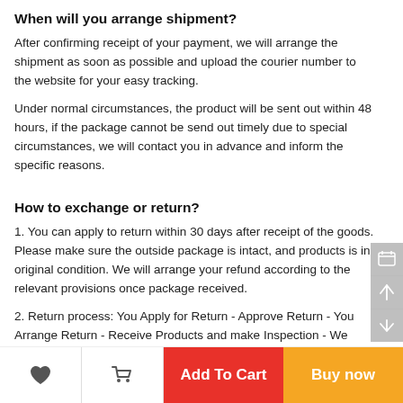When will you arrange shipment?
After confirming receipt of your payment, we will arrange the shipment as soon as possible and upload the courier number to the website for your easy tracking.
Under normal circumstances, the product will be sent out within 48 hours, if the package cannot be send out timely due to special circumstances, we will contact you in advance and inform the specific reasons.
How to exchange or return?
1. You can apply to return within 30 days after receipt of the goods. Please make sure the outside package is intact, and products is in original condition. We will arrange your refund according to the relevant provisions once package received.
2. Return process: You Apply for Return - Approve Return - You Arrange Return - Receive Products and make Inspection - We arrange Refund;
3. We will bear the freight charges for returns caused by us, for instance the quality problem; As to returns caused by the client, customer should be responsible for the shipping fee;